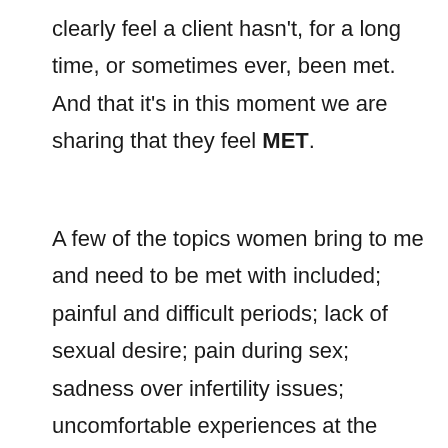clearly feel a client hasn't, for a long time, or sometimes ever, been met. And that it's in this moment we are sharing that they feel MET.
A few of the topics women bring to me and need to be met with included; painful and difficult periods; lack of sexual desire; pain during sex; sadness over infertility issues; uncomfortable experiences at the gynaecologist; painful and traumatic sexual experiences from their past; and not having the courage